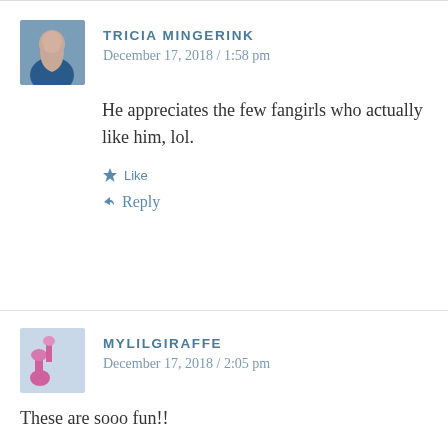TRICIA MINGERINK
December 17, 2018 / 1:58 pm
He appreciates the few fangirls who actually like him, lol.
Like
Reply
MYLILGIRAFFE
December 17, 2018 / 2:05 pm
These are sooo fun!!